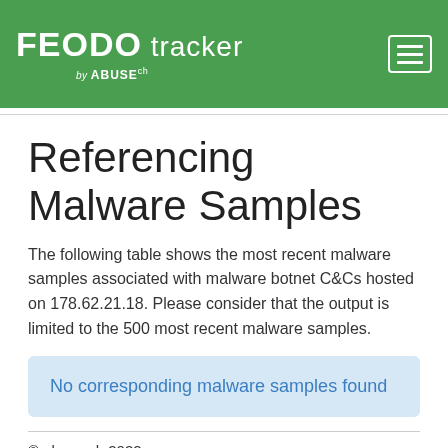FEODO tracker by ABUSE.ch
Referencing Malware Samples
The following table shows the most recent malware samples associated with malware botnet C&Cs hosted on 178.62.21.18. Please consider that the output is limited to the 500 most recent malware samples.
No corresponding malware samples found
© abuse.ch 2022